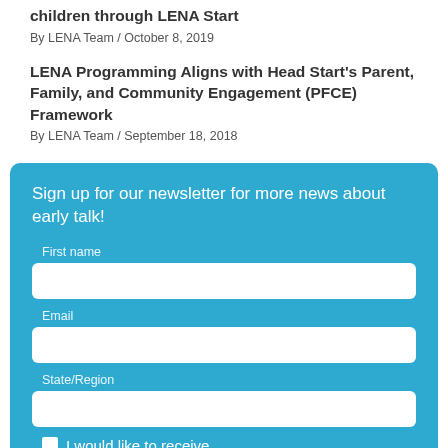children through LENA Start
By LENA Team / October 8, 2019
LENA Programming Aligns with Head Start's Parent, Family, and Community Engagement (PFCE) Framework
By LENA Team / September 18, 2018
Sign up for our newsletter for more news about early talk!
First name
Email
State/Region
I would like to receive